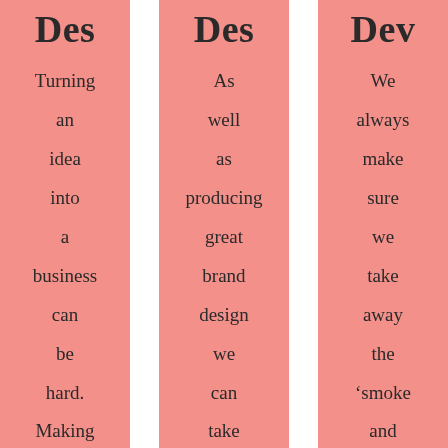Des
Turning an idea into a business can be hard. Making it look great
Des
As well as producing great brand design we can take specific products and
Dev
We always make sure we take away the ‘smoke and mirrors’ from website